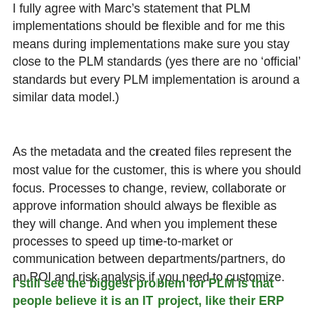I fully agree with Marc's statement that PLM implementations should be flexible and for me this means during implementations make sure you stay close to the PLM standards (yes there are no 'official' standards but every PLM implementation is around a similar data model.)
As the metadata and the created files represent the most value for the customer, this is where you should focus. Processes to change, review, collaborate or approve information should always be flexible as they will change. And when you implement these processes to speed up time-to-market or communication between departments/partners, do an ROI and risk analysis if you need to customize.
I still see the biggest problem for PLM is that people believe it is an IT project, like their ERP project in the